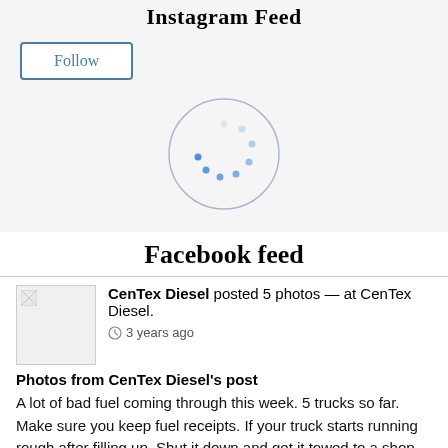Instagram Feed
Follow
[Figure (other): Loading spinner circle with blue dots arranged in a circle pattern]
Facebook feed
[Figure (photo): Small thumbnail image of a Facebook post from CenTex Diesel]
CenTex Diesel posted 5 photos — at CenTex Diesel.
3 years ago
Photos from CenTex Diesel's post
A lot of bad fuel coming through this week. 5 trucks so far. Make sure you keep fuel receipts. If your truck starts running rough after filling up. Shut it down and get it towed to a shop. Most of ... See more
[Figure (photo): Small photo thumbnail at bottom of page]